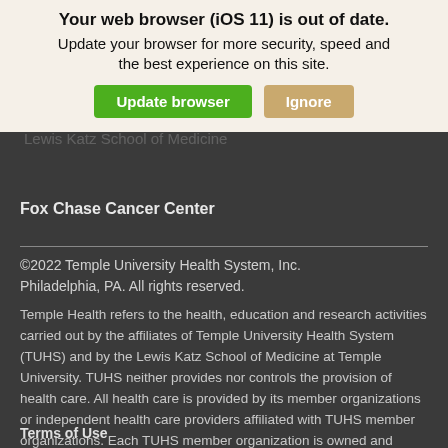[Figure (screenshot): Browser update warning overlay on a beige/cream background with bold text 'Your web browser (iOS 11) is out of date.' and subtext 'Update your browser for more security, speed and the best experience on this site.' with a green 'Update browser' button and a tan 'Ignore' button.]
Fox Chase Cancer Center
©2022 Temple University Health System, Inc. Philadelphia, PA. All rights reserved.
Temple Health refers to the health, education and research activities carried out by the affiliates of Temple University Health System (TUHS) and by the Lewis Katz School of Medicine at Temple University. TUHS neither provides nor controls the provision of health care. All health care is provided by its member organizations or independent health care providers affiliated with TUHS member organizations. Each TUHS member organization is owned and operated pursuant to its governing documents.
Terms of Use